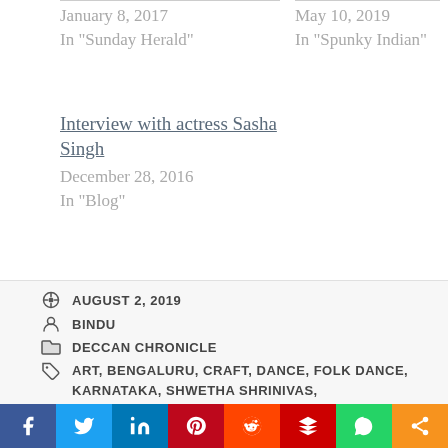January 8, 2017
In "Sunday Herald"
May 10, 2019
In "Spunky Indian"
Interview with actress Sasha Singh
December 28, 2016
In "Blog"
AUGUST 2, 2019
BINDU
DECCAN CHRONICLE
ART, BENGALURU, CRAFT, DANCE, FOLK DANCE, KARNATAKA, SHWETHA SHRINIVAS, THE COURTYARD, YAKSHAGANA WORKSHOP
[Figure (infographic): Social share bar with Facebook, Twitter, LinkedIn, Pinterest, Reddit, Mix, WhatsApp, and More sharing buttons]